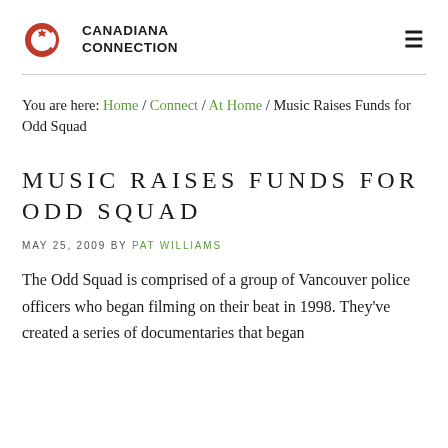Canadiana Connection
You are here: Home / Connect / At Home / Music Raises Funds for Odd Squad
MUSIC RAISES FUNDS FOR ODD SQUAD
MAY 25, 2009 BY PAT WILLIAMS
The Odd Squad is comprised of a group of Vancouver police officers who began filming on their beat in 1998. They've created a series of documentaries that began